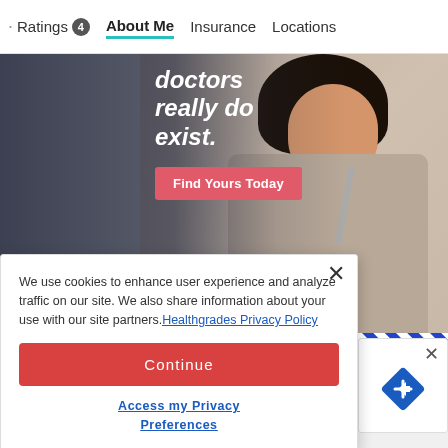· Ratings 4  About Me  Insurance  Locations
[Figure (photo): Healthgrades advertisement banner showing a female doctor with stethoscope and text 'doctors really do exist.' with a 'Find Yours Today' button and Healthgrades logo. Blue striped border at bottom.]
We use cookies to enhance user experience and analyze traffic on our site. We also share information about your use with our site partners. Healthgrades Privacy Policy
Continue
Access my Privacy Preferences